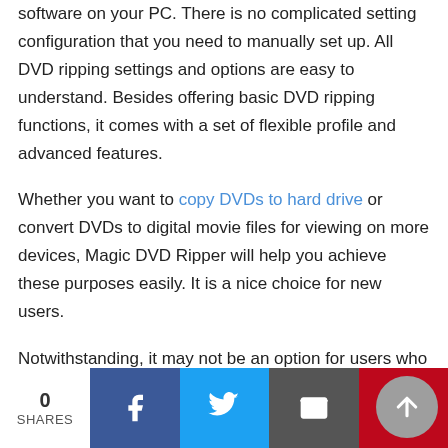software on your PC. There is no complicated setting configuration that you need to manually set up. All DVD ripping settings and options are easy to understand. Besides offering basic DVD ripping functions, it comes with a set of flexible profile and advanced features.
Whether you want to copy DVDs to hard drive or convert DVDs to digital movie files for viewing on more devices, Magic DVD Ripper will help you achieve these purposes easily. It is a nice choice for new users.
Notwithstanding, it may not be an option for users who are looking forward to more advanced setting and features as Magic DVD Ripper has limited output formats and profiles compared with many other DVD ripping